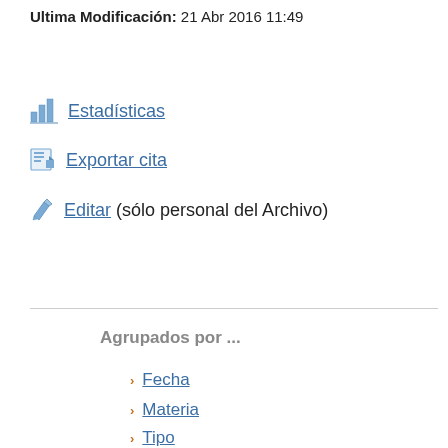Ultima Modificación: 21 Abr 2016 11:49
Estadísticas
Exportar cita
Editar (sólo personal del Archivo)
Agrupados por ...
Fecha
Materia
Tipo